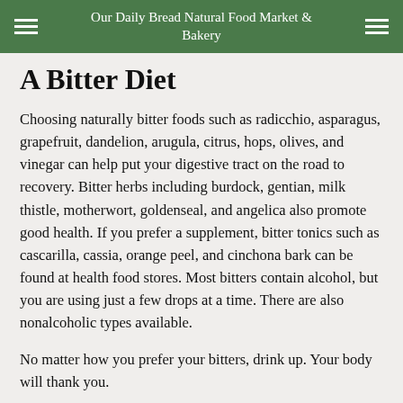Our Daily Bread Natural Food Market & Bakery
A Bitter Diet
Choosing naturally bitter foods such as radicchio, asparagus, grapefruit, dandelion, arugula, citrus, hops, olives, and vinegar can help put your digestive tract on the road to recovery. Bitter herbs including burdock, gentian, milk thistle, motherwort, goldenseal, and angelica also promote good health. If you prefer a supplement, bitter tonics such as cascarilla, cassia, orange peel, and cinchona bark can be found at health food stores. Most bitters contain alcohol, but you are using just a few drops at a time. There are also nonalcoholic types available.
No matter how you prefer your bitters, drink up. Your body will thank you.